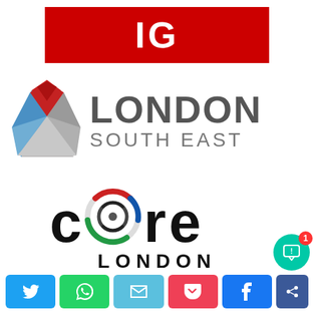[Figure (logo): IG logo — white bold text 'IG' on a red background rectangle]
[Figure (logo): London South East logo — geometric diamond/pyramid shape in red, blue and grey on the left, with 'LONDON' in large bold grey text and 'SOUTH EAST' in smaller spaced grey text on the right]
[Figure (logo): Core London logo — stylized word 'core' with circular icon in the 'o', using red, white, blue, green and black colors, with 'LONDON' in spaced bold text beneath]
[Figure (other): Social sharing buttons row: Twitter (blue), WhatsApp (green), Email (teal), Pocket (red/pink), Facebook (blue), and a partially visible share button; plus a teal notification bubble with red badge showing '1']